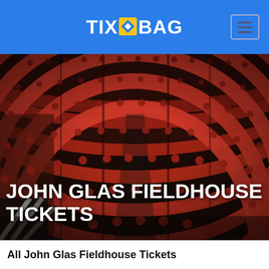TIX BAG
[Figure (photo): Interior of a theater or fieldhouse showing curved rows of red/crimson theater seats viewed from the stage level, with multiple tiers visible]
JOHN GLAS FIELDHOUSE TICKETS
All John Glas Fieldhouse Tickets